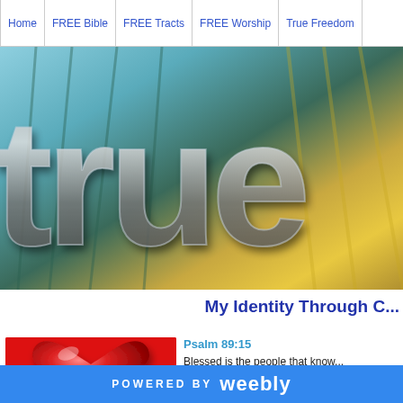Home | FREE Bible | FREE Tracts | FREE Worship | True Freedom
[Figure (photo): Hero banner image with large metallic 3D text reading 'true' overlaid on a blurred background of plants and golden light]
My Identity Through C...
[Figure (photo): Red glossy 3D heart on a red background]
Psalm 89:15
Blessed is the people that know... O Lord, in the light of thy counter...
POWERED BY weebly